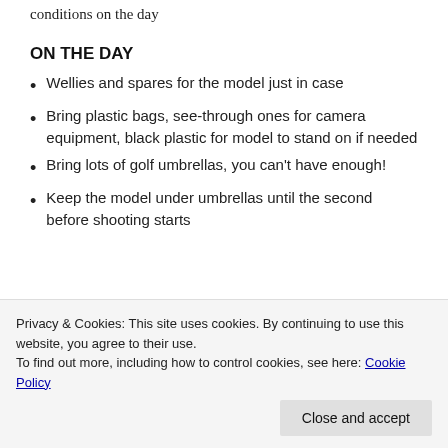Work with your photographer to make the most of the conditions on the day
ON THE DAY
Wellies and spares for the model just in case
Bring plastic bags, see-through ones for camera equipment, black plastic for model to stand on if needed
Bring lots of golf umbrellas, you can’t have enough!
Keep the model under umbrellas until the second before shooting starts
Privacy & Cookies: This site uses cookies. By continuing to use this website, you agree to their use.
To find out more, including how to control cookies, see here: Cookie Policy
Close and accept